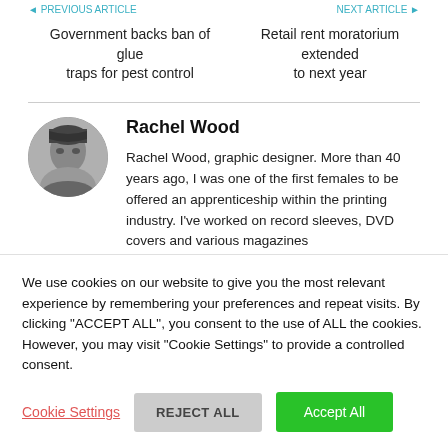Government backs ban of glue traps for pest control
Retail rent moratorium extended to next year
Rachel Wood
Rachel Wood, graphic designer. More than 40 years ago, I was one of the first females to be offered an apprenticeship within the printing industry. I've worked on record sleeves, DVD covers and various magazines
We use cookies on our website to give you the most relevant experience by remembering your preferences and repeat visits. By clicking "ACCEPT ALL", you consent to the use of ALL the cookies. However, you may visit "Cookie Settings" to provide a controlled consent.
Cookie Settings
REJECT ALL
Accept All